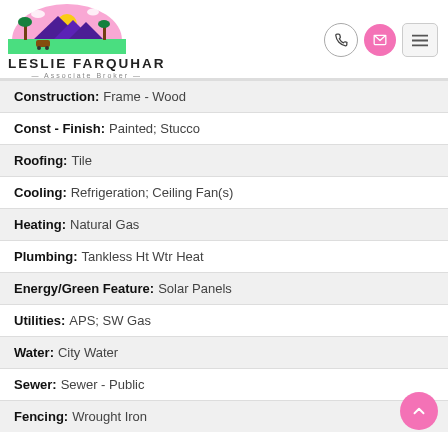[Figure (logo): Leslie Farquhar Associate Broker logo with desert/palm tree scene]
| Construction: | Frame - Wood |
| Const - Finish: | Painted; Stucco |
| Roofing: | Tile |
| Cooling: | Refrigeration; Ceiling Fan(s) |
| Heating: | Natural Gas |
| Plumbing: | Tankless Ht Wtr Heat |
| Energy/Green Feature: | Solar Panels |
| Utilities: | APS; SW Gas |
| Water: | City Water |
| Sewer: | Sewer - Public |
| Fencing: | Wrought Iron |